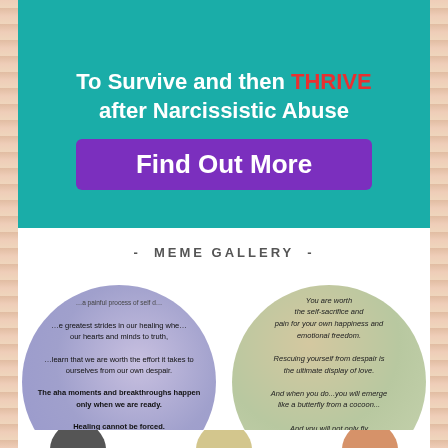[Figure (illustration): Three illustrated figures/characters sitting, shown at top of teal banner]
To Survive and then THRIVE after Narcissistic Abuse
Find Out More
- MEME GALLERY -
[Figure (illustration): Left circular meme with purple/lavender background containing text about healing: 'a painful process of self d... greatest strides in our healing when our hearts and minds to truth, learn that we are worth the effort it takes to ourselves from our own despair. The aha moments and breakthroughs happen only when we are ready. Healing cannot be forced. ~Evelyn Ryan~ YourLifeAfter']
[Figure (illustration): Right circular meme with nature/butterfly background containing italic text: 'You are worth the self-sacrifice and pain for your own happiness and emotional freedom. Rescuing yourself from despair is the ultimate display of love. And when you do...you will emerge like a butterfly from a cocoon... And you will not only fly And show your true beauty to yourself and to the world']